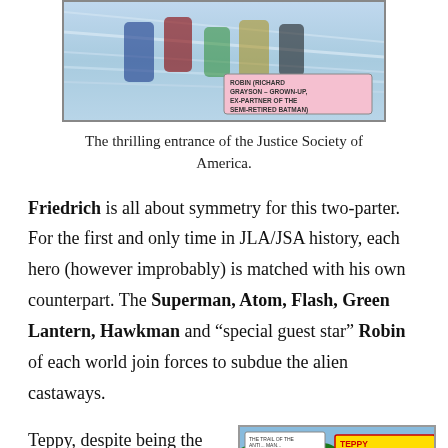[Figure (illustration): Comic book panel showing superheroes in flight, partial view at top of page. Shows characters with a caption label reading 'ROBIN (RICHARD GRAYSON - GROWN-UP, EX-PARTNER OF THE SEMI-RETIRED BATMAN)']
The thrilling entrance of the Justice Society of America.
Friedrich is all about symmetry for this two-parter. For the first and only time in JLA/JSA history, each hero (however improbably) is matched with his own counterpart. The Superman, Atom, Flash, Green Lantern, Hawkman and “special guest star” Robin of each world join forces to subdue the alien castaways.
Teppy, despite being the size of a Monster Island
[Figure (illustration): Comic book panel showing a superhero in yellow and blue costume with text 'TEPPY STRIKES BACK!' against a tropical background with palm trees.]